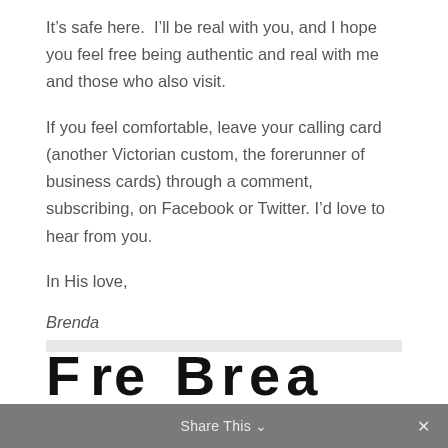It's safe here.  I'll be real with you, and I hope you feel free being authentic and real with me and those who also visit.
If you feel comfortable, leave your calling card (another Victorian custom, the forerunner of business cards) through a comment, subscribing, on Facebook or Twitter. I'd love to hear from you.
In His love,
Brenda
Share This ∨  ✕